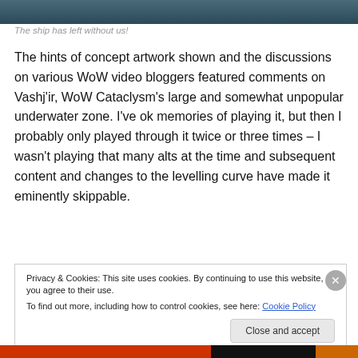[Figure (photo): Dark teal/blue image bar at top of page]
The ship has left without us!
The hints of concept artwork shown and the discussions on various WoW video bloggers featured comments on Vashj'ir, WoW Cataclysm's large and somewhat unpopular underwater zone. I've ok memories of playing it, but then I probably only played through it twice or three times – I wasn't playing that many alts at the time and subsequent content and changes to the levelling curve have made it eminently skippable.
Privacy & Cookies: This site uses cookies. By continuing to use this website, you agree to their use.
To find out more, including how to control cookies, see here: Cookie Policy